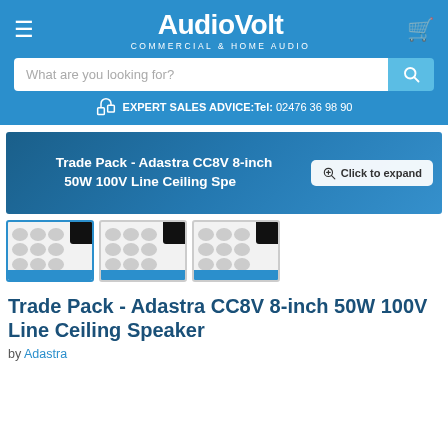AudioVolt - COMMERCIAL & HOME AUDIO
What are you looking for?
EXPERT SALES ADVICE: Tel: 02476 36 98 90
[Figure (photo): Product banner showing Trade Pack - Adastra CC8V 8-inch 50W 100V Line Ceiling Speaker with Click to expand button]
[Figure (photo): Three thumbnail images of the product packaging showing ceiling speakers]
Trade Pack - Adastra CC8V 8-inch 50W 100V Line Ceiling Speaker
by Adastra